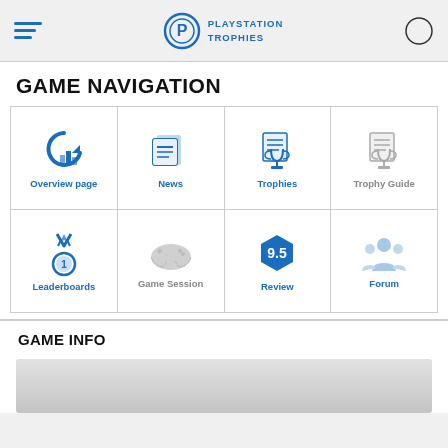PLAYSTATION TROPHIES
GAME NAVIGATION
[Figure (screenshot): Navigation grid with 8 icons: Overview page, News, Trophies, Trophy Guide, Leaderboards, Game Session, Review (9.5), Forum]
GAME INFO
[Figure (photo): Gray image placeholder area]